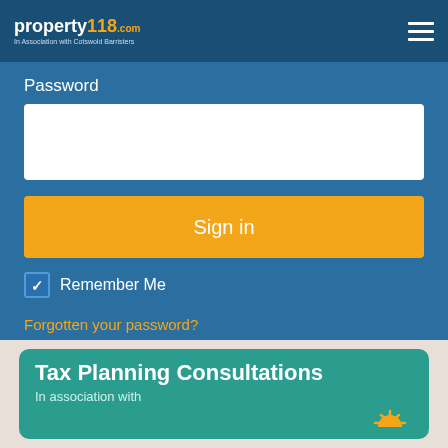property118.com — In Association with Cotswold Barristers
Password
Sign in
Remember Me
Forgotten your password?
Don't have an account? Sign Up
Tax Planning Consultations
In association with